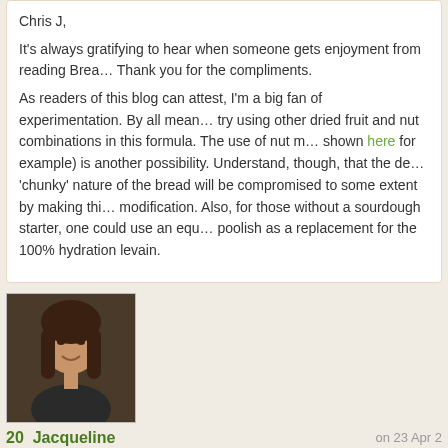Chris J,
It's always gratifying to hear when someone gets enjoyment from reading Brea… Thank you for the compliments.
As readers of this blog can attest, I'm a big fan of experimentation. By all mean… try using other dried fruit and nut combinations in this formula. The use of nut m… shown here for example) is another possibility. Understand, though, that the de… 'chunky' nature of the bread will be compromised to some extent by making thi… modification. Also, for those without a sourdough starter, one could use an equ… poolish as a replacement for the 100% hydration levain.
[Figure (photo): Avatar photo of Jacqueline - woman with brown hair]
20  Jacqueline    on 23 Apr 2
Could I add some sprouted wheat berries to this recipe? This looks gorgeous. … your site.
[Figure (photo): Partial avatar photo at bottom of page]